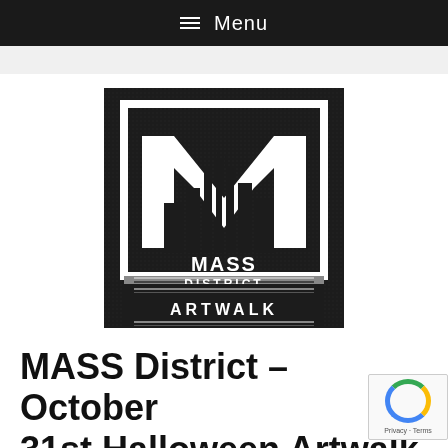≡ Menu
[Figure (logo): MASS District Artwalk logo — dark background square with a large white letter M stylized with a city skyline silhouette inside, text 'MASS DISTRICT' below the M, and 'ARTWALK' text below a horizontal divider line]
MASS District – October 31st Halloween Artwalk